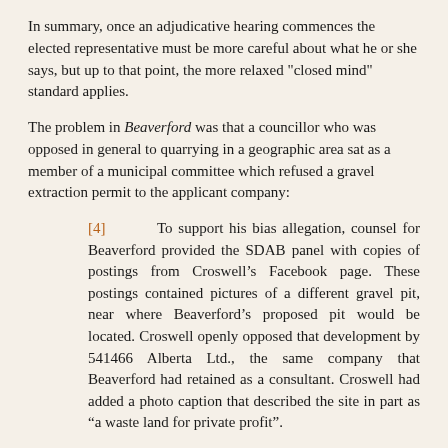In summary, once an adjudicative hearing commences the elected representative must be more careful about what he or she says, but up to that point, the more relaxed "closed mind" standard applies.
The problem in Beaverford was that a councillor who was opposed in general to quarrying in a geographic area sat as a member of a municipal committee which refused a gravel extraction permit to the applicant company:
[4]  To support his bias allegation, counsel for Beaverford provided the SDAB panel with copies of postings from Croswell’s Facebook page. These postings contained pictures of a different gravel pit, near where Beaverford’s proposed pit would be located. Croswell openly opposed that development by 541466 Alberta Ltd., the same company that Beaverford had retained as a consultant. Croswell had added a photo caption that described the site in part as “a waste land for private profit”.
[5]  Counsel for Beaverford also produced a flier